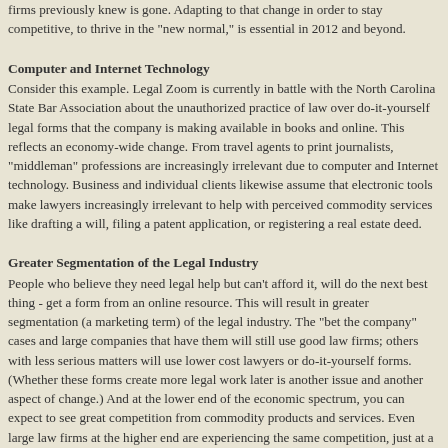firms previously knew is gone. Adapting to that change in order to stay competitive, to thrive in the "new normal," is essential in 2012 and beyond.
Computer and Internet Technology
Consider this example. Legal Zoom is currently in battle with the North Carolina State Bar Association about the unauthorized practice of law over do-it-yourself legal forms that the company is making available in books and online. This reflects an economy-wide change. From travel agents to print journalists, "middleman" professions are increasingly irrelevant due to computer and Internet technology. Business and individual clients likewise assume that electronic tools make lawyers increasingly irrelevant to help with perceived commodity services like drafting a will, filing a patent application, or registering a real estate deed.
Greater Segmentation of the Legal Industry
People who believe they need legal help but can't afford it, will do the next best thing - get a form from an online resource. This will result in greater segmentation (a marketing term) of the legal industry. The "bet the company" cases and large companies that have them will still use good law firms; others with less serious matters will use lower cost lawyers or do-it-yourself forms. (Whether these forms create more legal work later is another issue and another aspect of change.) And at the lower end of the economic spectrum, you can expect to see great competition from commodity products and services. Even large law firms at the higher end are experiencing the same competition, just at a different level of sophistication (i.e., the pressure to charge fixed fees for so-called commodity work).